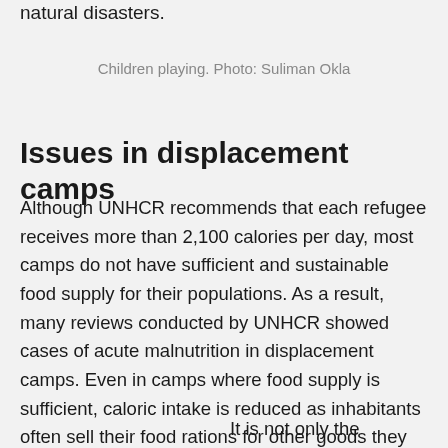natural disasters.
Children playing. Photo: Suliman Okla
Issues in displacement camps
Although UNHCR recommends that each refugee receives more than 2,100 calories per day, most camps do not have sufficient and sustainable food supply for their populations. As a result, many reviews conducted by UNHCR showed cases of acute malnutrition in displacement camps. Even in camps where food supply is sufficient, caloric intake is reduced as inhabitants often sell their food rations for other goods they desperately need.
It is not only the quantity of